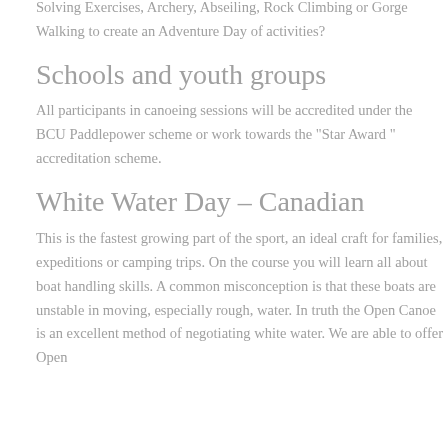Solving Exercises, Archery, Abseiling, Rock Climbing or Gorge Walking to create an Adventure Day of activities?
Schools and youth groups
All participants in canoeing sessions will be accredited under the BCU Paddlepower scheme or work towards the "Star Award " accreditation scheme.
White Water Day – Canadian
This is the fastest growing part of the sport, an ideal craft for families, expeditions or camping trips. On the course you will learn all about boat handling skills. A common misconception is that these boats are unstable in moving, especially rough, water. In truth the Open Canoe is an excellent method of negotiating white water. We are able to offer Open